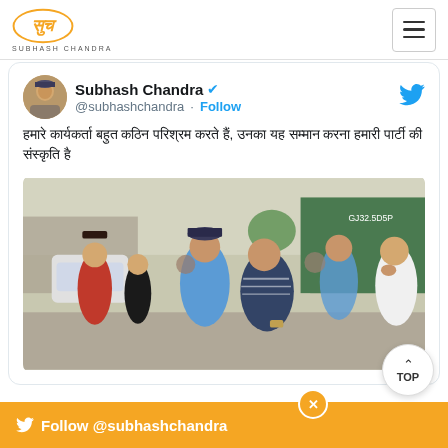SUBHASH CHANDRA
Subhash Chandra @subhashchandra · Follow
हमारे कार्यकर्ता बहुत कठिन परिश्रम करते हैं, उनका यह सम्मान करना हमारी पार्टी की संस्कृति है
[Figure (photo): Group photo of Subhash Chandra with several supporters and workers on a street]
Follow @subhashchandra